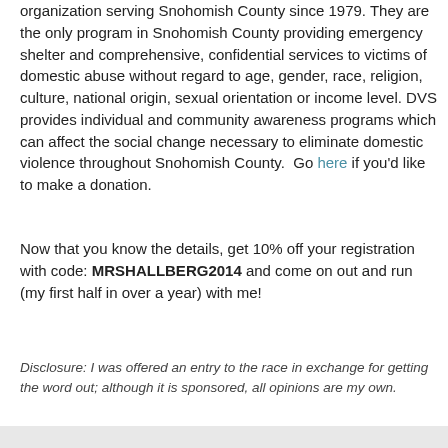organization serving Snohomish County since 1979. They are the only program in Snohomish County providing emergency shelter and comprehensive, confidential services to victims of domestic abuse without regard to age, gender, race, religion, culture, national origin, sexual orientation or income level. DVS provides individual and community awareness programs which can affect the social change necessary to eliminate domestic violence throughout Snohomish County.  Go here if you'd like to make a donation.
Now that you know the details, get 10% off your registration with code: MRSHALLBERG2014 and come on out and run (my first half in over a year) with me!
Disclosure: I was offered an entry to the race in exchange for getting the word out; although it is sponsored, all opinions are my own.